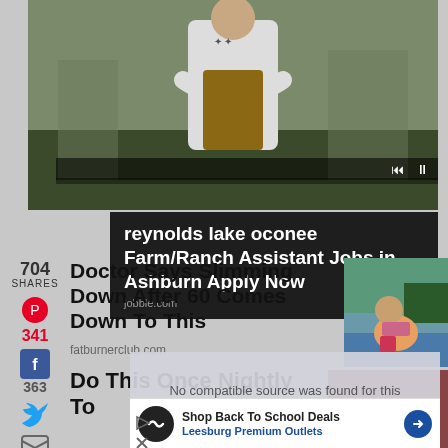[Figure (photo): Person with arms crossed wearing white shirt and apron, outdoors with buildings in background. Video player controls visible.]
[Figure (screenshot): Ad overlay: reynolds lake oconee Farm/Ranch Assistant Jobs in Ashburn Apply Now - jobble.com]
704 SHARES
341
363
Doctor Says Slimming Down After 60 Comes Down To This
fatburnerclub.com
[Figure (photo): Woman in bikini sitting by a lake]
Do This Once Nightly To
[Figure (screenshot): Video overlay: No compatible source was found for this media.]
[Figure (screenshot): Ad banner: Shop Back To School Deals - Leesburg Premium Outlets]